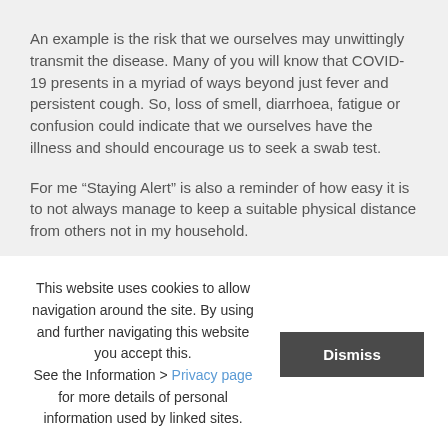An example is the risk that we ourselves may unwittingly transmit the disease. Many of you will know that COVID-19 presents in a myriad of ways beyond just fever and persistent cough. So, loss of smell, diarrhoea, fatigue or confusion could indicate that we ourselves have the illness and should encourage us to seek a swab test.
For me “Staying Alert” is also a reminder of how easy it is to not always manage to keep a suitable physical distance from others not in my household.
So what do these changes in policy mean in practice?
Social gatherings are still prohibited and our Clubhouse must remain closed to members.
This website uses cookies to allow navigation around the site. By using and further navigating this website you accept this. See the Information > Privacy page for more details of personal information used by linked sites.